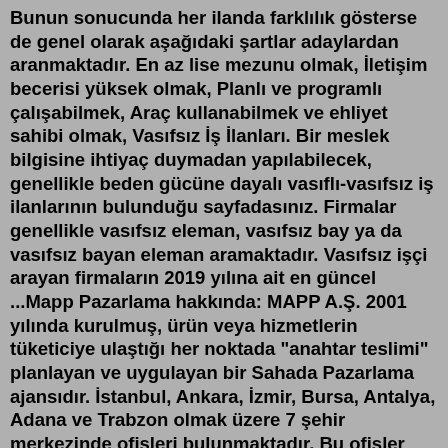Bunun sonucunda her ilanda farklılık gösterse de genel olarak aşağıdaki şartlar adaylardan aranmaktadır. En az lise mezunu olmak, İletişim becerisi yüksek olmak, Planlı ve programlı çalışabilmek, Araç kullanabilmek ve ehliyet sahibi olmak, Vasıfsız İş İlanları. Bir meslek bilgisine ihtiyaç duymadan yapılabilecek, genellikle beden gücüne dayalı vasıflı-vasıfsız iş ilanlarının bulunduğu sayfadasınız. Firmalar genellikle vasıfsız eleman, vasıfsız bay ya da vasıfsız bayan eleman aramaktadır. Vasıfsız işçi arayan firmaların 2019 yılına ait en güncel ...Mapp Pazarlama hakkında: MAPP A.Ş. 2001 yılında kurulmuş, ürün veya hizmetlerin tüketiciye ulaştığı her noktada "anahtar teslimi" planlayan ve uygulayan bir Sahada Pazarlama ajansıdır. İstanbul, Ankara, İzmir, Bursa, Antalya, Adana ve Trabzon olmak üzere 7 şehir merkezinde ofisleri bulunmaktadır. Bu ofisler aracılığı ile ...Mörş Arayan Firmalar hakkında. mörşlük yapabileceğim bir firma. Acil İş İlanları. Part-Time İş İlanları. Staj İlanları. Dönemsel İş İlanları. İstanbul iş ilanları.